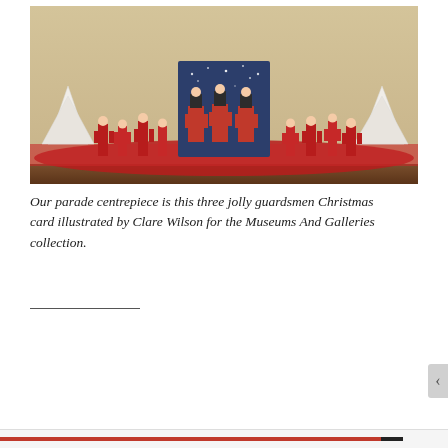[Figure (photo): A shelf display with toy soldier figurines in red uniforms, red tinsel garland, white paper Christmas trees, and a Christmas card in the center showing three marching guardsmen illustrated against a dark starry background.]
Our parade centrepiece is this three jolly guardsmen Christmas card illustrated by Clare Wilson for the Museums And Galleries collection.
Privacy & Cookies: This site uses cookies. By continuing to use this website, you agree to their use.
To find out more, including how to control cookies, see here:
Cookie Policy
Close and accept